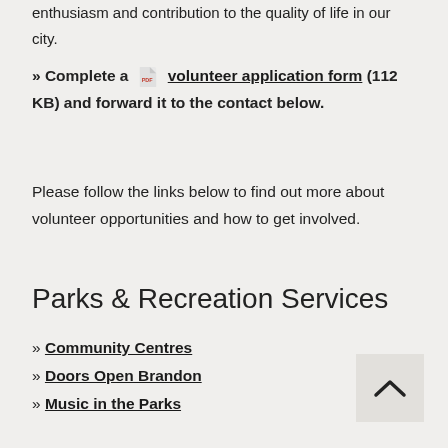enthusiasm and contribution to the quality of life in our city.
» Complete a [PDF icon] volunteer application form (112 KB) and forward it to the contact below.
Please follow the links below to find out more about volunteer opportunities and how to get involved.
Parks & Recreation Services
» Community Centres
» Doors Open Brandon
» Music in the Parks